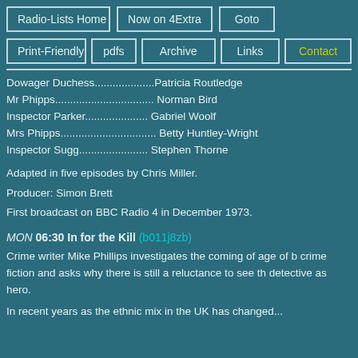Radio-Lists Home | Now on 4Extra | Goto | Print-Friendly | pdfs | Archive | Links | Contact
Dowager Duchess....................Patricia Routledge
Mr Phipps................................. Norman Bird
Inspector Parker..................... Gabriel Woolf
Mrs Phipps................................ Betty Huntley-Wright
Inspector Sugg....................... Stephen Thorne
Adapted in five episodes by Chris Miller.
Producer: Simon Brett
First broadcast on BBC Radio 4 in December 1973.
MON 06:30 In for the Kill (b011j8zb)
Crime writer Mike Phillips investigates the coming of age of b crime fiction and asks why there is still a reluctance to see th detective as hero.
In recent years as the ethnic mix in the UK has changed...